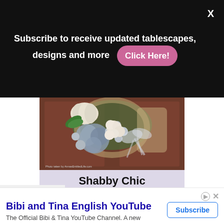Subscribe to receive updated tablescapes, designs and more  [Click Here!]  X
[Figure (photo): A shabby chic autumn wreath with grey hydrangeas, cream roses, pom poms, and an organza bow on a dark wooden door background. Photo credited to AnnasEntitledLife.com. Below the photo is a lavender/purple label reading 'Shabby Chic Autumn Wreath'.]
Bibi and Tina English YouTube
The Official Bibi & Tina YouTube Channel. A new adventure will be uploaded every thursday! Bibi and Tina
Subscribe